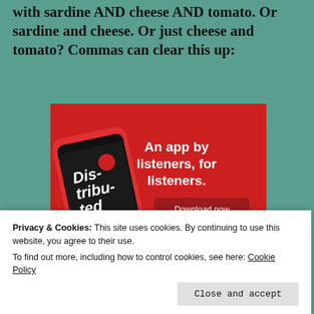with sardine AND cheese AND tomato. Or sardine and cheese. Or just cheese and tomato? Commas can clear this up:
[Figure (screenshot): Red advertisement banner for a podcast app showing a phone with 'Distributed' podcast app screen. Text reads 'An app by listeners, for listeners.' with a 'Download now' button.]
Privacy & Cookies: This site uses cookies. By continuing to use this website, you agree to their use.
To find out more, including how to control cookies, see here: Cookie Policy
Close and accept